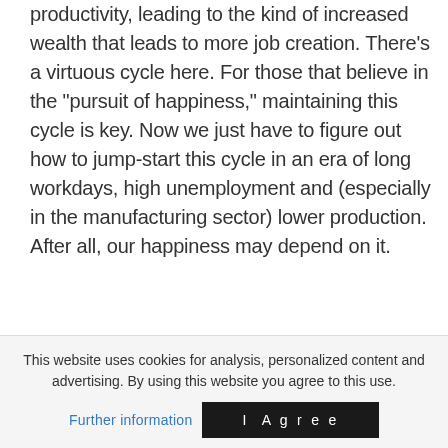productivity, leading to the kind of increased wealth that leads to more job creation. There's a virtuous cycle here. For those that believe in the "pursuit of happiness," maintaining this cycle is key. Now we just have to figure out how to jump-start this cycle in an era of long workdays, high unemployment and (especially in the manufacturing sector) lower production. After all, our happiness may depend on it.
Recent Articles
This website uses cookies for analysis, personalized content and advertising. By using this website you agree to this use.
Further information
I Agree